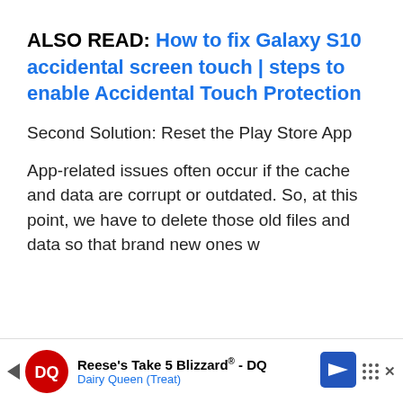ALSO READ: How to fix Galaxy S10 accidental screen touch | steps to enable Accidental Touch Protection
Second Solution: Reset the Play Store App
App-related issues often occur if the cache and data are corrupt or outdated. So, at this point, we have to delete those old files and data so that brand new ones will replace the app
[Figure (other): Advertisement banner for Dairy Queen Reese's Take 5 Blizzard (Treat) with DQ logo and directional sign icon]